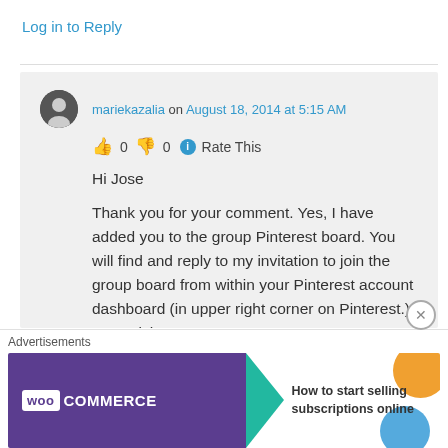Log in to Reply
mariekazalia on August 18, 2014 at 5:15 AM
👍 0 👎 0 ℹ Rate This
Hi Jose

Thank you for your comment. Yes, I have added you to the group Pinterest board. You will find and reply to my invitation to join the group board from within your Pinterest account dashboard (in upper right corner on Pinterest.) Best wishes
[Figure (other): WooCommerce advertisement banner: How to start selling subscriptions online]
Advertisements